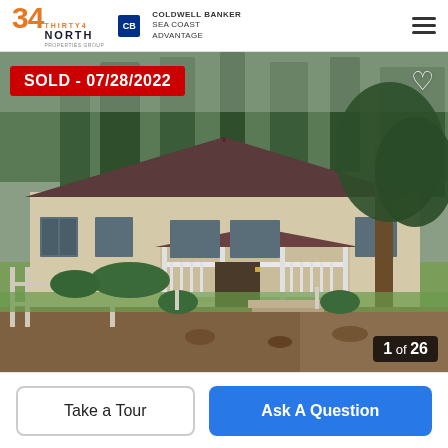34 Thirty4 North | Coldwell Banker Sea Coast Advantage
[Figure (photo): Exterior photo of a single-story ranch-style house with dark brown/maroon roof, beige/tan siding, covered front porch with white railings, green lawn, large tree on right side, overcast sky with trees in background. Sold banner overlay reading SOLD - 07/28/2022. Photo counter showing 1 of 26.]
SOLD - 07/28/2022
1 of 26
Take a Tour
Ask A Question